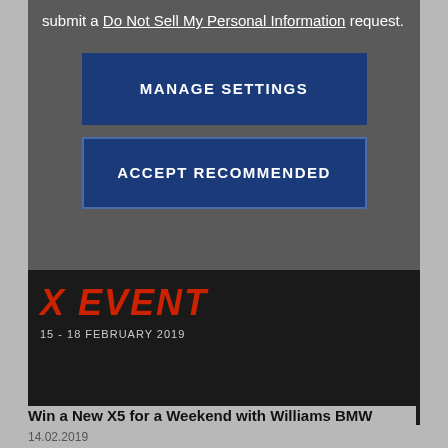submit a Do Not Sell My Personal Information request.
[Figure (screenshot): MANAGE SETTINGS button (dark blue rectangle with white uppercase text)]
[Figure (screenshot): ACCEPT RECOMMENDED button (dark blue rectangle with white uppercase text and border)]
[Figure (photo): Dark event promo image showing 'X EVENT' text in red and '15 - 18 FEBRUARY 2019' below it]
14.02.2019
Win a New X5 for a Weekend with Williams BMW